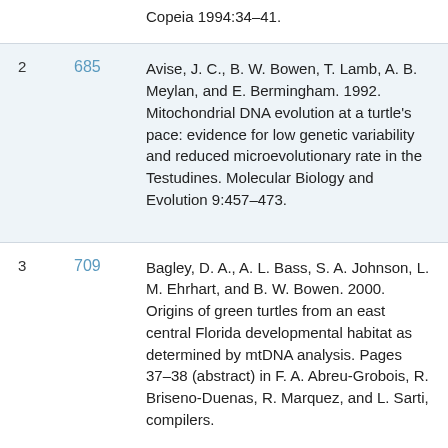| # | ID | Reference |
| --- | --- | --- |
|  |  | Copeia 1994:34–41. |
| 2 | 685 | Avise, J. C., B. W. Bowen, T. Lamb, A. B. Meylan, and E. Bermingham. 1992. Mitochondrial DNA evolution at a turtle's pace: evidence for low genetic variability and reduced microevolutionary rate in the Testudines. Molecular Biology and Evolution 9:457–473. |
| 3 | 709 | Bagley, D. A., A. L. Bass, S. A. Johnson, L. M. Ehrhart, and B. W. Bowen. 2000. Origins of green turtles from an east central Florida developmental habitat as determined by mtDNA analysis. Pages 37–38 (abstract) in F. A. Abreu-Grobois, R. Briseno-Duenas, R. Marquez, and L. Sarti, compilers. |